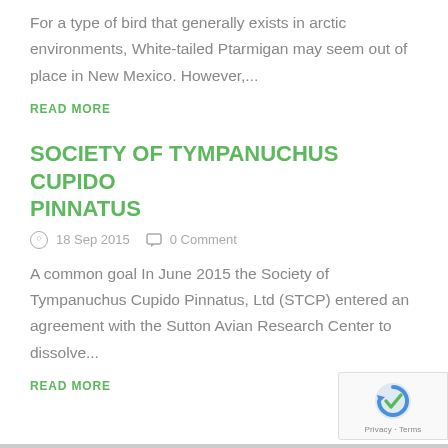For a type of bird that generally exists in arctic environments, White-tailed Ptarmigan may seem out of place in New Mexico. However,...
READ MORE
SOCIETY OF TYMPANUCHUS CUPIDO PINNATUS
18 Sep 2015   0 Comment
A common goal In June 2015 the Society of Tympanuchus Cupido Pinnatus, Ltd (STCP) entered an agreement with the Sutton Avian Research Center to dissolve...
READ MORE